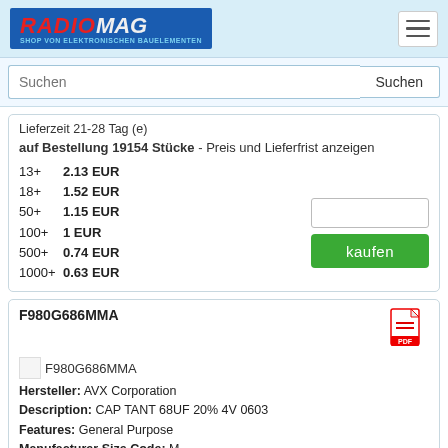RADIOMAG - SHOP VON ELEKTRONISCHEN BAUELEMENTEN
Suchen [search bar]
Lieferzeit 21-28 Tag (e)
auf Bestellung 19154 Stücke - Preis und Lieferfrist anzeigen
13+ 2.13 EUR
18+ 1.52 EUR
50+ 1.15 EUR
100+ 1 EUR
500+ 0.74 EUR
1000+ 0.63 EUR
F980G686MMA
Hersteller: AVX Corporation
Description: CAP TANT 68UF 20% 4V 0603
Features: General Purpose
Manufacturer Size Code: M
Height - Seated (Max): 0.035" (0.90mm)
Size / Dimension: 0.063" L x 0.033" W (1.60mm x 0.85mm)
Package / Case: 0603 (1608 Metric)
Mounting Type: Surface Mount
Operating Temperature: -55°C ~ 125°C
ESR (Equivalent Series Resistance): 10Ohm